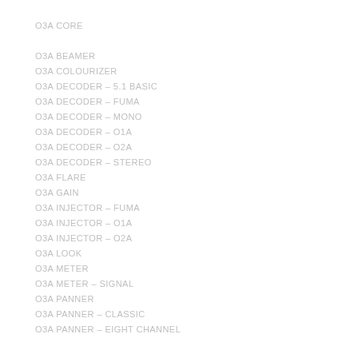O3A CORE
O3A BEAMER
O3A COLOURIZER
O3A DECODER – 5.1 BASIC
O3A DECODER – FUMA
O3A DECODER – MONO
O3A DECODER – O1A
O3A DECODER – O2A
O3A DECODER – STEREO
O3A FLARE
O3A GAIN
O3A INJECTOR – FUMA
O3A INJECTOR – O1A
O3A INJECTOR – O2A
O3A LOOK
O3A METER
O3A METER – SIGNAL
O3A PANNER
O3A PANNER – CLASSIC
O3A PANNER – EIGHT CHANNEL